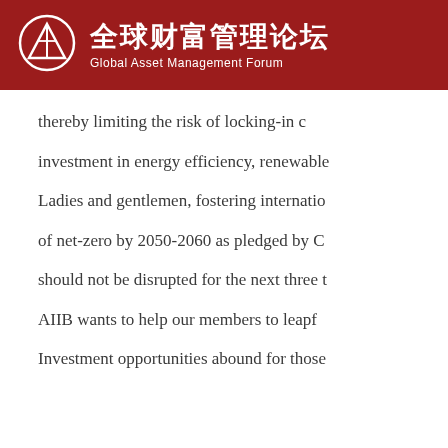全球财富管理论坛 Global Asset Management Forum
thereby limiting the risk of locking-in c
investment in energy efficiency, renewable
Ladies and gentlemen, fostering internatio
of net-zero by 2050-2060 as pledged by C
should not be disrupted for the next three t
AIIB wants to help our members to leapf
Investment opportunities abound for those